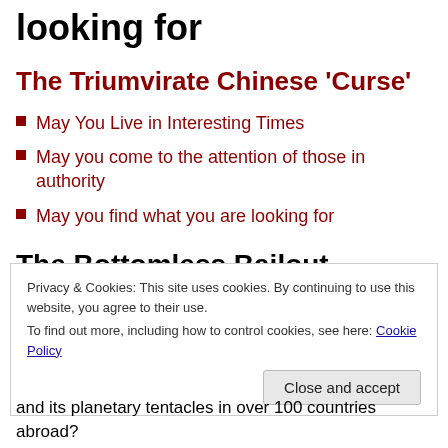looking for
The Triumvirate Chinese 'Curse'
May You Live in Interesting Times
May you come to the attention of those in authority
May you find what you are looking for
The Bottomless Bailout
Privacy & Cookies: This site uses cookies. By continuing to use this website, you agree to their use.
To find out more, including how to control cookies, see here: Cookie Policy
and its planetary tentacles in over 100 countries abroad?